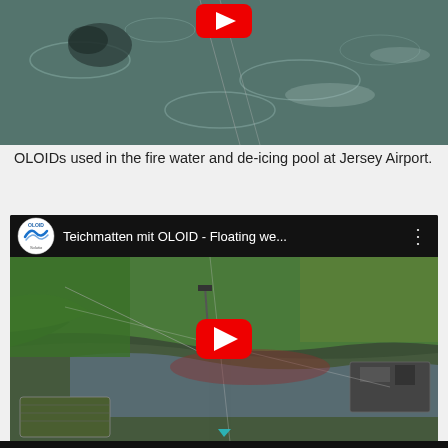[Figure (photo): Aerial or close-up photo of water surface with OLOID devices visible, dark teal/grey water with ripples and some debris or equipment visible. A red play button overlay is visible at top.]
OLOIDs used in the fire water and de-icing pool at Jersey Airport.
[Figure (screenshot): YouTube video embed thumbnail showing 'Teichmatten mit OLOID - Floating we...' with OLOID Solutions logo on left, aerial view of a river/pond with floating wetland mats and OLOID equipment, lush green banks, with a large red YouTube play button in the center.]